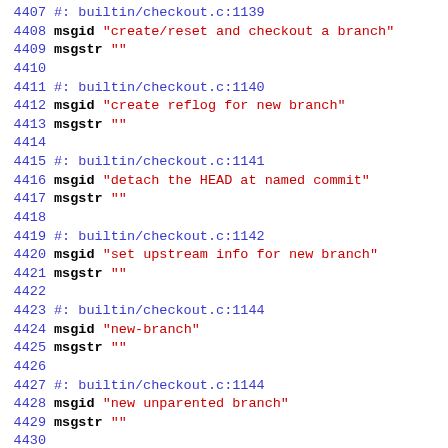Source code listing (gettext .po file), lines 4407-4436, showing msgid/msgstr entries for git checkout strings.